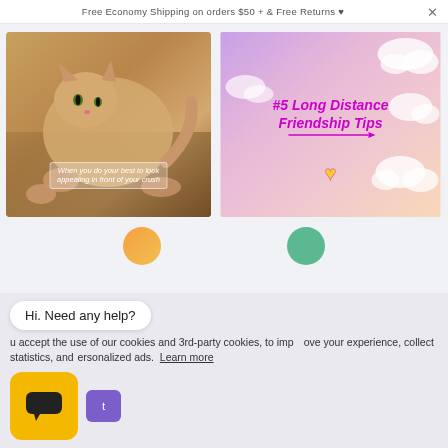Free Economy Shipping on orders $50 + & Free Returns 🖤
[Figure (photo): Orange kitten lying on its back on a cardboard surface with caption 'When you do your best to look appealing in front of your crush']
[Figure (illustration): Pink/purple gradient sky with clouds, text '#5 Long Distance Friendship Tips' in magenta bold italic with arrow, and pixel heart icon]
Hi. Need any help?
u accept the use of our cookies and 3rd-party cookies, to improve your experience, collect statistics, and personalized ads. Learn more